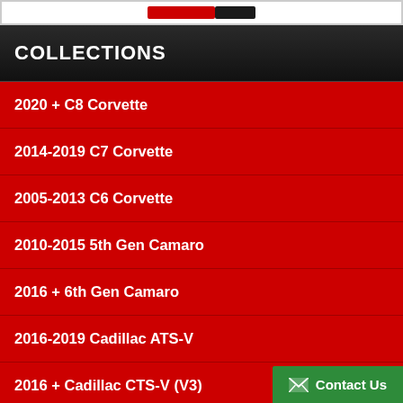[Figure (other): Top banner with logo/image strip in red and black]
COLLECTIONS
2020 + C8 Corvette
2014-2019 C7 Corvette
2005-2013 C6 Corvette
2010-2015 5th Gen Camaro
2016 + 6th Gen Camaro
2016-2019 Cadillac ATS-V
2016 + Cadillac CTS-V (V3)
2009-2014 Cadillac CTS-V (V2)
2008-2009 Pontiac G8
Contact Us